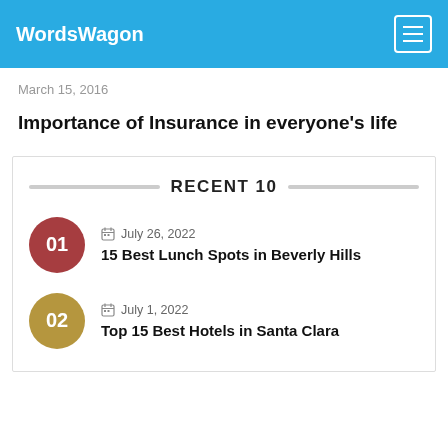WordsWagon
March 15, 2016
Importance of Insurance in everyone's life
RECENT 10
July 26, 2022 | 15 Best Lunch Spots in Beverly Hills
July 1, 2022 | Top 15 Best Hotels in Santa Clara